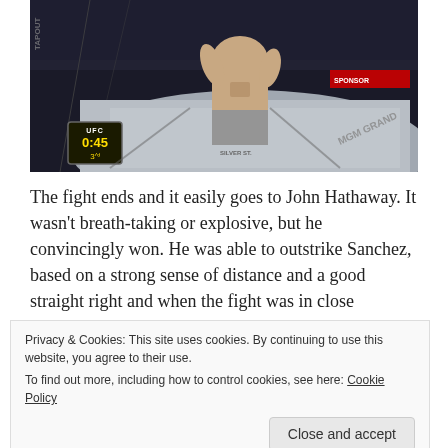[Figure (photo): UFC fight screenshot showing a shirtless fighter from behind in an octagon cage, with UFC timer showing 0:45 and round 3 in bottom left corner. MGM Grand branding visible on the octagon canvas.]
The fight ends and it easily goes to John Hathaway. It wasn’t breath-taking or explosive, but he convincingly won. He was able to outstrike Sanchez, based on a strong sense of distance and a good straight right and when the fight was in close
Privacy & Cookies: This site uses cookies. By continuing to use this website, you agree to their use.
To find out more, including how to control cookies, see here: Cookie Policy
[Figure (photo): Partial view of a UFC fight, showing two fighters at the bottom of the frame.]